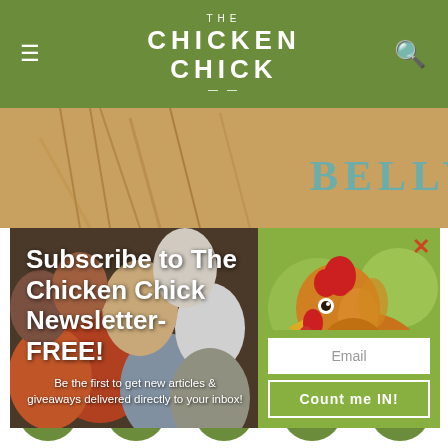THE CHICKEN CHICK
[Figure (screenshot): Newsletter subscription popup overlay on The Chicken Chick blog, showing colorful eggs on the left, a chicken photo on the right, subscribe text, email input field and Count me IN! button]
off as doing so could disembowel the chick. It is very common for chicks sold commercially to have pasty butt due to the stress of shipping or overcrowding and same infection. All chicks should be monitored for pasty
[Figure (screenshot): Social media sharing icons bar at bottom: Facebook, Pinterest, Email, WhatsApp, Crown/other app]